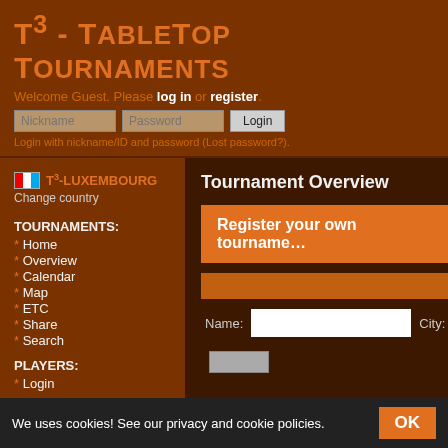T³ - TableTop Tournaments
Welcome Guest. Please log in or register.
Login with nickname/ID and password (Lost password?).
T³-LUXEMBOURG
Change country
TOURNAMENTS:
* Home
* Overview
* Calendar
* Map
* ETC
* Share
* Search
PLAYERS:
* Login
Tournament Overview
Register your own tournament
Name:
City:
We uses cookies! See our privacy and cookie policies.